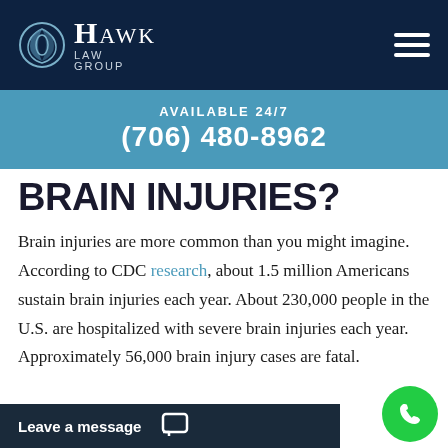Hawk Law Group — AVAILABLE 24/7 (706) 480-8962
BRAIN INJURIES?
Brain injuries are more common than you might imagine. According to CDC research, about 1.5 million Americans sustain brain injuries each year. About 230,000 people in the U.S. are hospitalized with severe brain injuries each year. Approximately 56,000 brain injury cases are fatal.